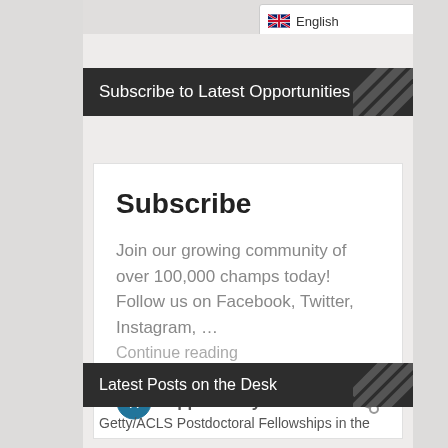English
Subscribe to Latest Opportunities
Subscribe
Join our growing community of over 100,000 champs today! Follow us on Facebook, Twitter, Instagram, …
Continue reading
Opportunity Desk
Latest Posts on the Desk
Getty/ACLS Postdoctoral Fellowships in the